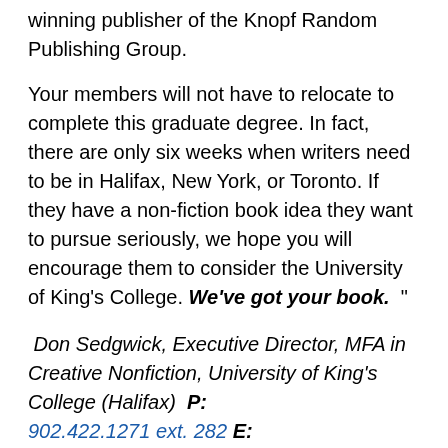winning publisher of the Knopf Random Publishing Group.
Your members will not have to relocate to complete this graduate degree. In fact, there are only six weeks when writers need to be in Halifax, New York, or Toronto. If they have a non-fiction book idea they want to pursue seriously, we hope you will encourage them to consider the University of King's College. We've got your book. "
Don Sedgwick, Executive Director, MFA in Creative Nonfiction, University of King's College (Halifax)  P: 902.422.1271 ext. 282 E: don.sedgwick@ukings.ca www.ukings.ca
For more information on the program and for admission requirements, please visit:
http://www.ukings.ca/master-fine-arts-creative-nonfiction